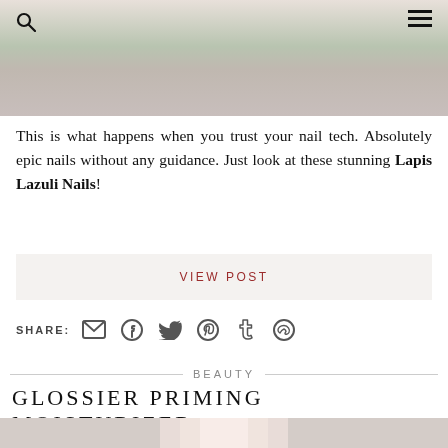[Figure (photo): Top portion of a person's face, close-up photo, partially cropped at top of page. Search icon (magnifying glass) in top-left and hamburger menu icon in top-right.]
This is what happens when you trust your nail tech. Absolutely epic nails without any guidance. Just look at these stunning Lapis Lazuli Nails!
VIEW POST
SHARE: [email] [facebook] [twitter] [pinterest] [tumblr] [whatsapp]
BEAUTY
GLOSSIER PRIMING MOISTURIZER
[Figure (photo): Product photo showing a light pink/peach tube of Glossier Priming Moisturizer, partially visible at bottom of page.]